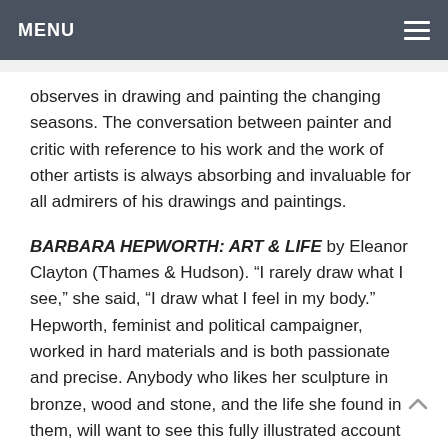MENU
observes in drawing and painting the changing seasons. The conversation between painter and critic with reference to his work and the work of other artists is always absorbing and invaluable for all admirers of his drawings and paintings.
BARBARA HEPWORTH: ART & LIFE by Eleanor Clayton (Thames & Hudson). “I rarely draw what I see,” she said, “I draw what I feel in my body.” Hepworth, feminist and political campaigner, worked in hard materials and is both passionate and precise. Anybody who likes her sculpture in bronze, wood and stone, and the life she found in them, will want to see this fully illustrated account of her work and to read her correspondence.
THE NILE A NEW HISTORY OF THE WORLD’S GREATEST RIVER by Terje Tvedt (I.B Tauris). The Norwegian professor, an expert on waterways, takes the